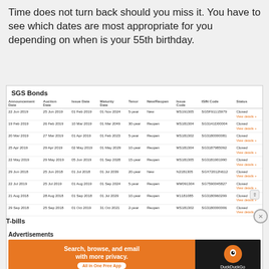Time does not turn back should you miss it. You have to see which dates are most appropriate for you depending on when is your 55th birthday.
| Announcement Date | Auction Date | Issue Date | Maturity Date | Tenor | New/Reopen | Issue Code | ISIN Code | Status |
| --- | --- | --- | --- | --- | --- | --- | --- | --- |
| 22 Jun 2019 | 25 Jun 2019 | 01 Feb 2019 | 01 Nov 2024 | 5-year | New | MS191305 | SG5F91115979 | Closed View details + |
| 19 Feb 2019 | 26 Feb 2019 | 10 Mar 2019 | 01 Mar 2049 | 30-year | Reopen | MS181304 | SG3141D0000H | Closed View details + |
| 20 Mar 2019 | 27 Mar 2019 | 01 Apr 2019 | 01 Feb 2023 | 5-year | Reopen | MS181302 | SG3180000081 | Closed View details + |
| 25 Apr 2019 | 29 Apr 2019 | 02 May 2019 | 01 May 2029 | 10-year | Reopen | MS181304 | SG3187985092 | Closed View details + |
| 22 May 2019 | 29 May 2019 | 05 Jun 2019 | 01 Sep 2028 | 15-year | Reopen | MS181305 | SG3181901990 | Closed View details + |
| 29 Jun 2018 | 25 Jun 2018 | 01 Jul 2018 | 01 Jul 2039 | 20-year | New | N2181305 | SGX72012N612 | Closed View details + |
| 22 Jul 2019 | 25 Jul 2019 | 01 Aug 2019 | 01 Sep 2024 | 5-year | Reopen | MM091304 | SG7590045827 | Closed View details + |
| 21 Aug 2018 | 28 Aug 2018 | 01 Sep 2018 | 01 Jul 2029 | 10-year | Reopen | M1181085 | SG3180960299 | Closed View details + |
| 29 Sep 2018 | 25 Sep 2018 | 01 Oct 2019 | 31 Oct 2021 | 2-year | Reopen | MS181302 | SG3180000006 | Closed View details + |
T-bills
Advertisements
[Figure (other): DuckDuckGo advertisement banner: Search, browse, and email with more privacy. All in One Free App. DuckDuckGo logo on dark background.]